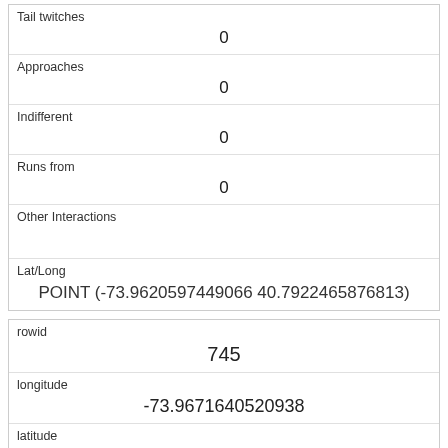| Tail twitches | 0 |
| Approaches | 0 |
| Indifferent | 0 |
| Runs from | 0 |
| Other Interactions |  |
| Lat/Long | POINT (-73.9620597449066 40.7922465876813) |
| rowid | 745 |
| longitude | -73.9671640520938 |
| latitude | 40.7772236833816 |
| Unique Squirrel ID | 16C-AM-1010-03 |